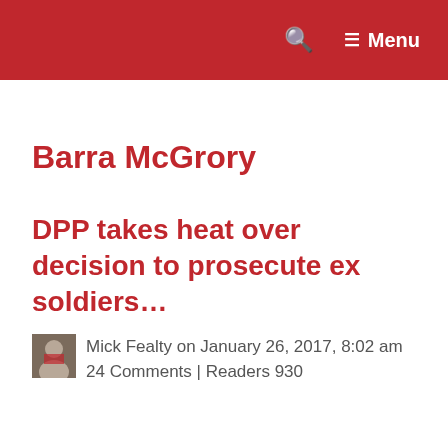🔍  ☰ Menu
Barra McGrory
DPP takes heat over decision to prosecute ex soldiers…
Mick Fealty on January 26, 2017, 8:02 am  24 Comments | Readers 930